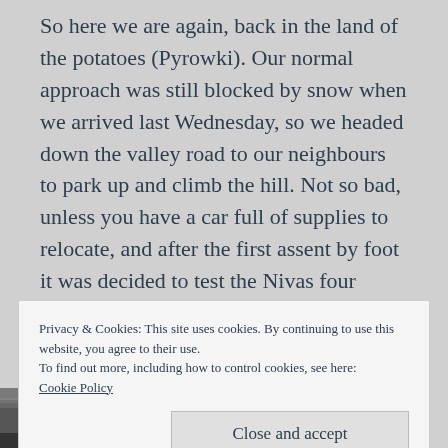So here we are again, back in the land of the potatoes (Pyrowki). Our normal approach was still blocked by snow when we arrived last Wednesday, so we headed down the valley road to our neighbours to park up and climb the hill. Not so bad, unless you have a car full of supplies to relocate, and after the first assent by foot it was decided to test the Nivas four wheel drive credentials. Lots of wheel spinning, mud flying and random steering to keep us on a relatively straight path; we managed to get
Privacy & Cookies: This site uses cookies. By continuing to use this website, you agree to their use.
To find out more, including how to control cookies, see here:
Cookie Policy
[Figure (photo): Partial view of a photo strip at the bottom of the page showing a landscape or outdoor scene in dark tones]